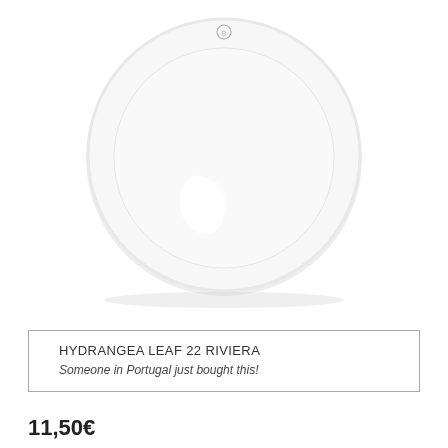[Figure (photo): White ceramic dinner plate (Hydrangea Leaf 22 Riviera) shown from above on a white background. The plate is round, plain white with a subtle brand mark at the top and a light reflection visible on the surface.]
HYDRANGEA LEAF 22 RIVIERA
Someone in Portugal just bought this!
11,50€